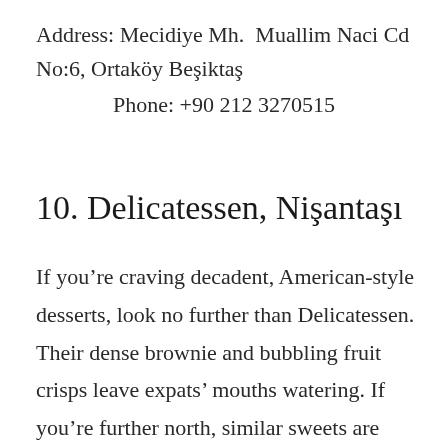Address: Mecidiye Mh.  Muallim Naci Cd No:6, Ortaköy Beşiktaş
Phone: +90 212 3270515
10. Delicatessen, Nişantaşı
If you're craving decadent, American-style desserts, look no further than Delicatessen. Their dense brownie and bubbling fruit crisps leave expats' mouths watering. If you're further north, similar sweets are available at its related cafe,